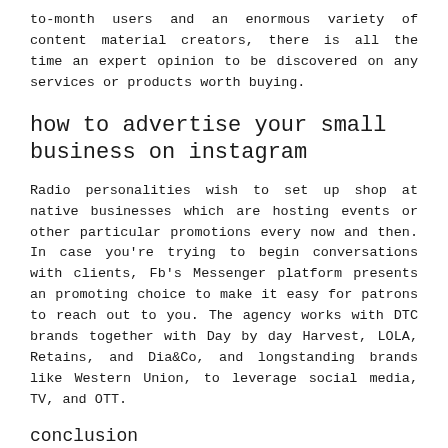to-month users and an enormous variety of content material creators, there is all the time an expert opinion to be discovered on any services or products worth buying.
how to advertise your small business on instagram
Radio personalities wish to set up shop at native businesses which are hosting events or other particular promotions every now and then. In case you're trying to begin conversations with clients, Fb's Messenger platform presents an promoting choice to make it easy for patrons to reach out to you. The agency works with DTC brands together with Day by day Harvest, LOLA, Retains, and Dia&Co, and longstanding brands like Western Union, to leverage social media, TV, and OTT.
conclusion